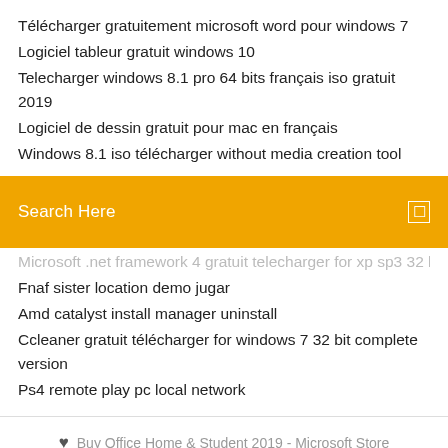Télécharger gratuitement microsoft word pour windows 7
Logiciel tableur gratuit windows 10
Telecharger windows 8.1 pro 64 bits français iso gratuit 2019
Logiciel de dessin gratuit pour mac en français
Windows 8.1 iso télécharger without media creation tool
[Figure (screenshot): Orange search bar with text 'Search Here' and a small square icon on the right]
Microsoft .net framework 4 gratuit telecharger for xp sp3 32 bit
Fnaf sister location demo jugar
Amd catalyst install manager uninstall
Ccleaner gratuit télécharger for windows 7 32 bit complete version
Ps4 remote play pc local network
Buy Office Home & Student 2019 - Microsoft Store